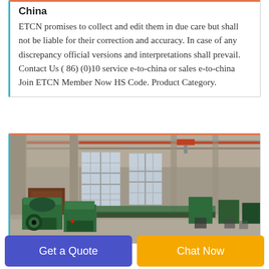China
ETCN promises to collect and edit them in due care but shall not be liable for their correction and accuracy. In case of any discrepancy official versions and interpretations shall prevail. Contact Us ( 86) (0)10 service e-to-china or sales e-to-china Join ETCN Member Now HS Code. Product Category.
[Figure (photo): Interior of a large industrial factory or warehouse with green machinery and equipment lined up on the floor, tall windows letting in light, overhead crane visible on the ceiling.]
Get a Quote
Chat Now